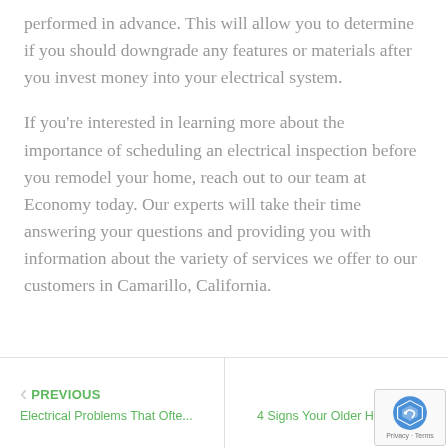performed in advance. This will allow you to determine if you should downgrade any features or materials after you invest money into your electrical system.
If you're interested in learning more about the importance of scheduling an electrical inspection before you remodel your home, reach out to our team at Economy today. Our experts will take their time answering your questions and providing you with information about the variety of services we offer to our customers in Camarillo, California.
PREVIOUS | Electrical Problems That Ofte... | NEXT | 4 Signs Your Older Home Re...